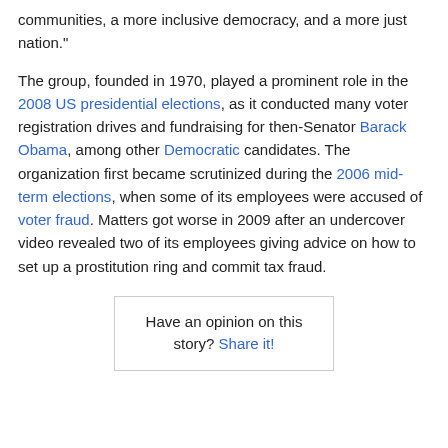communities, a more inclusive democracy, and a more just nation."
The group, founded in 1970, played a prominent role in the 2008 US presidential elections, as it conducted many voter registration drives and fundraising for then-Senator Barack Obama, among other Democratic candidates. The organization first became scrutinized during the 2006 mid-term elections, when some of its employees were accused of voter fraud. Matters got worse in 2009 after an undercover video revealed two of its employees giving advice on how to set up a prostitution ring and commit tax fraud.
Have an opinion on this story? Share it!